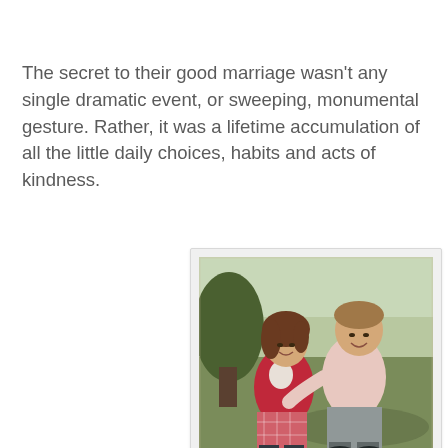The secret to their good marriage wasn't any single dramatic event, or sweeping, monumental gesture. Rather, it was a lifetime accumulation of all the little daily choices, habits and acts of kindness.
[Figure (photo): Vintage photograph of a young couple sitting together on grass outdoors. The woman on the left has brown hair and wears a red cardigan and plaid pants. The man on the right wears a light pink shirt and gray slacks. Both are smiling. The photo appears to be from the 1960s or 1970s.]